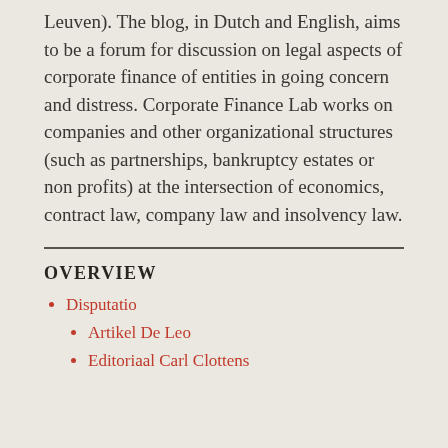Leuven). The blog, in Dutch and English, aims to be a forum for discussion on legal aspects of corporate finance of entities in going concern and distress. Corporate Finance Lab works on companies and other organizational structures (such as partnerships, bankruptcy estates or non profits) at the intersection of economics, contract law, company law and insolvency law.
OVERVIEW
Disputatio
Artikel De Leo
Editoriaal Carl Clottens